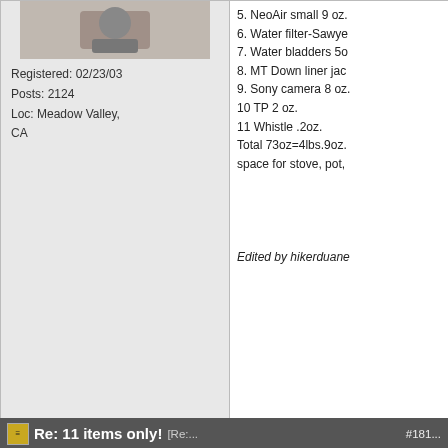Registered: 02/23/03
Posts: 2124
Loc: Meadow Valley, CA
5. NeoAir small 9 oz.
6. Water filter-Sawye...
7. Water bladders 5o...
8. MT Down liner jac...
9. Sony camera 8 oz...
10 TP 2 oz.
11 Whistle .2oz.
Total 73oz=4lbs.9oz.
space for stove, pot,
Edited by hikerduane...
Top
Re: 11 items only! [Re: jimmyb] #18187...
rockchucker22
member
Registered: 09/24/12
Posts: 751
Loc: Eastern Sierras
I didn't think 6 lbs was a re... would help to define all th...
The wind wont howl if the...
Top
Re: 11 items only! [Re:... #181...